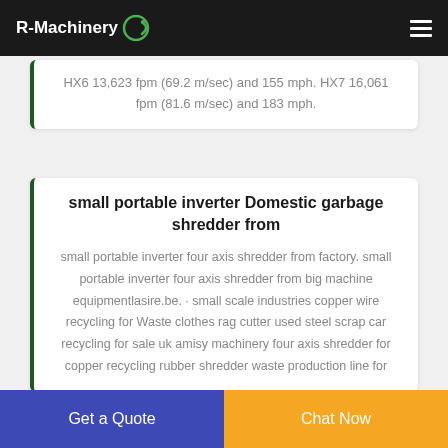R-Machinery
HX6 13,623 fpm (69.2 m/sec) and 155 mph. HX7 16,061 fpm (81.6 m/sec) and 183 mph.
small portable inverter Domestic garbage shredder from
small portable inverter four axis shredder from factory. small portable inverter four axis shredder from big machine equipmentlasire.be. · small scale industries copper wire recycling for Waste clothes rag cutter used steel scrap car recycling for sale uk amisy machinery four axis shredder for copper recycling rubber shredder waste production line for